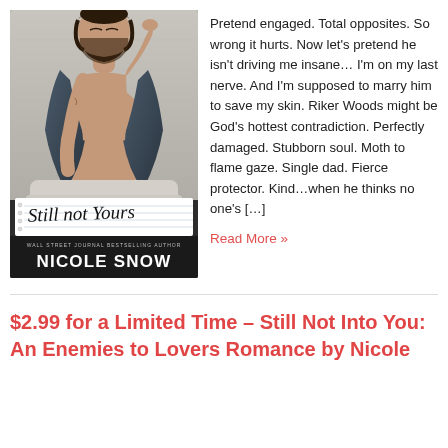[Figure (photo): Book cover for 'Still Not Yours' by Nicole Snow (Wall Street Journal Bestselling Author). Shows a muscular bearded man in an open jacket, seated. Title in handwritten script on a torn notebook paper strip. Author name in bold white text on dark background at bottom.]
Pretend engaged. Total opposites. So wrong it hurts. Now let's pretend he isn't driving me insane… I'm on my last nerve. And I'm supposed to marry him to save my skin. Riker Woods might be God's hottest contradiction. Perfectly damaged. Stubborn soul. Moth to flame gaze. Single dad. Fierce protector. Kind…when he thinks no one's […]
Read More »
$2.99 for a Limited Time – Still Not Into You: An Enemies to Lovers Romance by Nicole